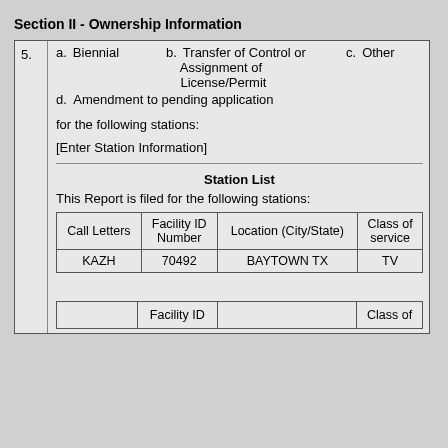Section II - Ownership Information
| 5. | a. Biennial | b. Transfer of Control or Assignment of License/Permit | c. Other | d. Amendment to pending application | for the following stations: | [Enter Station Information] | Station List | This Report is filed for the following stations: |
| --- | --- | --- | --- | --- | --- | --- | --- | --- |
| Call Letters | Facility ID Number | Location (City/State) | Class of service |
| KAZH | 70492 | BAYTOWN TX | TV |